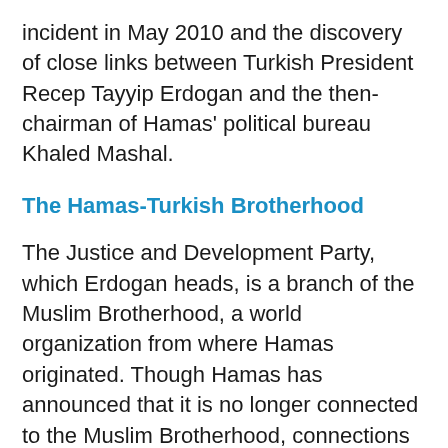incident in May 2010 and the discovery of close links between Turkish President Recep Tayyip Erdogan and the then-chairman of Hamas' political bureau Khaled Mashal.
The Hamas-Turkish Brotherhood
The Justice and Development Party, which Erdogan heads, is a branch of the Muslim Brotherhood, a world organization from where Hamas originated. Though Hamas has announced that it is no longer connected to the Muslim Brotherhood, connections between both movements still exist. Hamas has lowered its profile with the Muslim Brotherhood in Egypt to move closer to President al-Sisi in the interest of easing the embargo on the Gaza Strip. However, its links with other